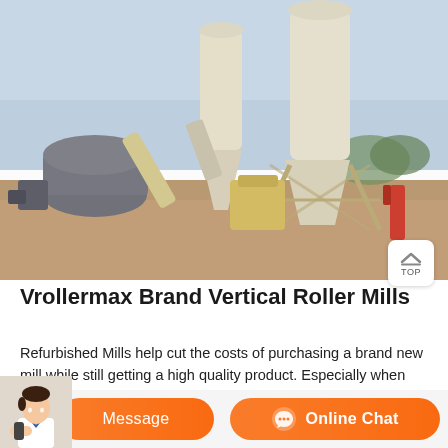[Figure (photo): Outdoor industrial vertical roller mill equipment with large cylindrical towers/cyclone separators and piping, set on a dirt construction site under an overcast sky.]
Vrollermax Brand Vertical Roller Mills
Refurbished Mills help cut the costs of purchasing a brand new mill while still getting a high quality product. Especially when you are working with KADY International From bottom entry mills to continuous flow mills, we offer a number of refurbished mills. View Refurbished Mills. Roller Blinds Ready Made Roller Blinds
Message
Online Chat